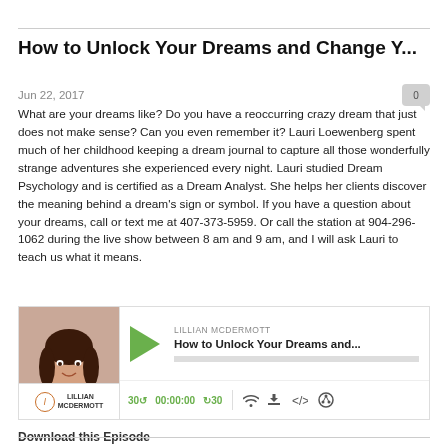How to Unlock Your Dreams and Change Y...
Jun 22, 2017
What are your dreams like? Do you have a reoccurring crazy dream that just does not make sense? Can you even remember it? Lauri Loewenberg spent much of her childhood keeping a dream journal to capture all those wonderfully strange adventures she experienced every night. Lauri studied Dream Psychology and is certified as a Dream Analyst. She helps her clients discover the meaning behind a dream's sign or symbol. If you have a question about your dreams, call or text me at 407-373-5959. Or call the station at 904-296-1062 during the live show between 8 am and 9 am, and I will ask Lauri to teach us what it means.
[Figure (screenshot): Audio player widget for episode 'How to Unlock Your Dreams and...' by Lillian McDermott, showing play button, timestamp 00:00:00, skip controls, and podcast controls.]
Download this Episode